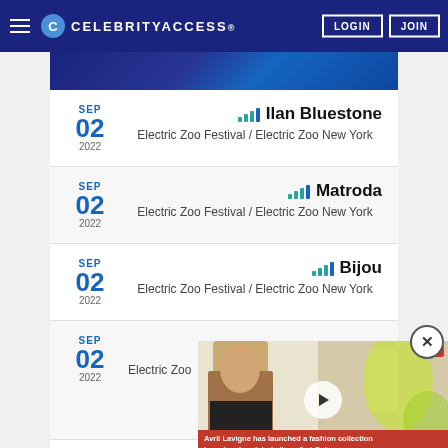CELEBRITYACCESS - LOGIN JOIN
SEP 02 2022 - Ilan Bluestone - Electric Zoo Festival / Electric Zoo New York
SEP 02 2022 - Matroda - Electric Zoo Festival / Electric Zoo New York
SEP 02 2022 - Bijou - Electric Zoo Festival / Electric Zoo New York
SEP 02 2022 - Electric Zoo
SEP
[Figure (screenshot): Video overlay showing a woman with long blonde hair and caption: Avril Lavigne has launched a fashion collection based on her debut album 'Let Go']